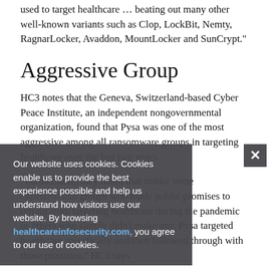used to target healthcare … beating out many other well-known variants such as Clop, LockBit, Nemty, RagnarLocker, Avaddon, MountLocker and SunCrypt."
Aggressive Group
HC3 notes that the Geneva, Switzerland-based Cyber Peace Institute, an independent nongovernmental organization, found that Pysa was one of the most aggressive among all ransomware groups in targeting healthcare over the last two years.
"Furthermore, they noted that unlike some cybercriminal groups who made public promises to refrain from targeting healthcare during the pandemic or others who simply didn't make any, Pysa targeted healthcare specifically and then followed through with those promises," HC3 says
Our website uses cookies. Cookies enable us to provide the best experience possible and help us understand how visitors use our website. By browsing healthcareinfosecurity.com, you agree to our use of cookies.